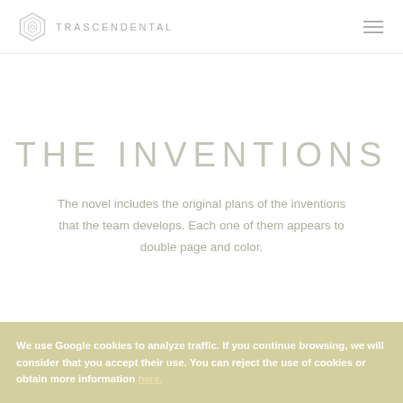TRASCENDENTAL
THE INVENTIONS
The novel includes the original plans of the inventions that the team develops. Each one of them appears to double page and color.
We use Google cookies to analyze traffic. If you continue browsing, we will consider that you accept their use. You can reject the use of cookies or obtain more information here.